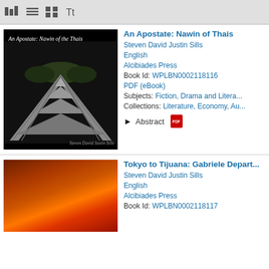toolbar icons
[Figure (screenshot): Book cover for 'An Apostate: Nawin of the Thais' - black and white photo of a wooden bridge/walkway receding into the distance, black background, author name in italic text at bottom right]
An Apostate: Nawin of Thais
Steven David Justin Sills
English
Alcibiades Press
Book Id: WPLBN0002118116
PDF (eBook)
Subjects: Fiction, Drama and Litera...
Collections: Literature, Economy, Au...
▶ Abstract
[Figure (screenshot): Book cover for 'Tokyo to Tijuana: Gabriele Departs...' - gradient image from dark red/brown to orange/red tones]
Tokyo to Tijuana: Gabriele Depart...
Steven David Justin Sills
English
Alcibiades Press
Book Id: WPLBN0002118117